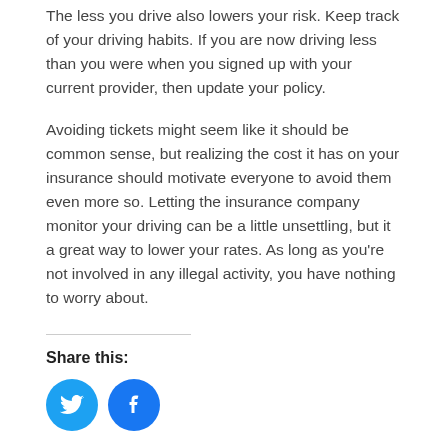The less you drive also lowers your risk. Keep track of your driving habits. If you are now driving less than you were when you signed up with your current provider, then update your policy.
Avoiding tickets might seem like it should be common sense, but realizing the cost it has on your insurance should motivate everyone to avoid them even more so. Letting the insurance company monitor your driving can be a little unsettling, but it a great way to lower your rates. As long as you're not involved in any illegal activity, you have nothing to worry about.
Share this:
[Figure (illustration): Two social media share buttons: a Twitter bird icon (cyan/blue circle) and a Facebook 'f' icon (blue circle)]